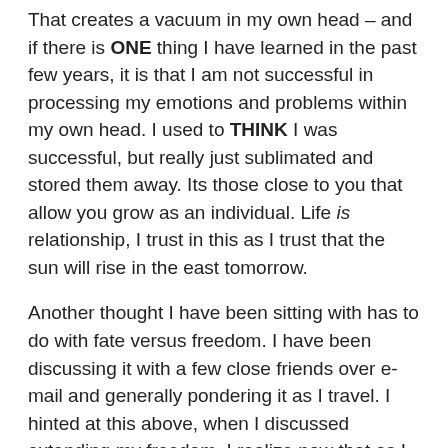That creates a vacuum in my own head – and if there is ONE thing I have learned in the past few years, it is that I am not successful in processing my emotions and problems within my own head. I used to THINK I was successful, but really just sublimated and stored them away. Its those close to you that allow you grow as an individual. Life is relationship, I trust in this as I trust that the sun will rise in the east tomorrow.
Another thought I have been sitting with has to do with fate versus freedom. I have been discussing it with a few close friends over e-mail and generally pondering it as I travel. I hinted at this above, when I discussed extending my freedom. I realize now that as I wake each day with no commitments and endless choices before me, that this is some sort of pinnacle of the concept of total freedom– total freedom being a western, material view on what freedom entails. Freedom of choice and location and speech. Total freedom is not this however, as I have learned from Krisnamurti's teachings – Total freedom is freedom from the known, choiceless awareness through